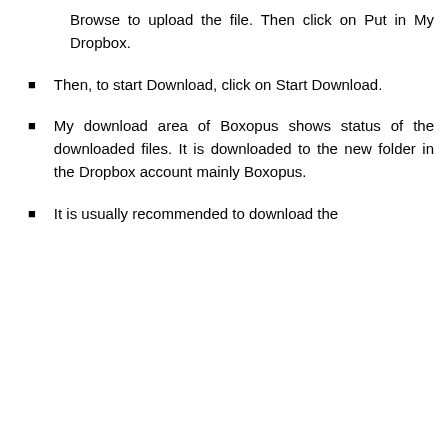Browse to upload the file. Then click on Put in My Dropbox.
Then, to start Download, click on Start Download.
My download area of Boxopus shows status of the downloaded files. It is downloaded to the new folder in the Dropbox account mainly Boxopus.
It is usually recommended to download the